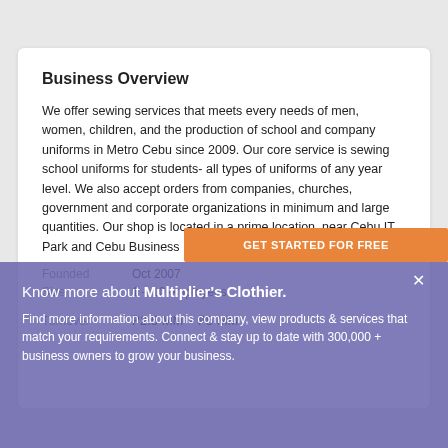Business Overview
We offer sewing services that meets every needs of men, women, children, and the production of school and company uniforms in Metro Cebu since 2009. Our core service is sewing school uniforms for students- all types of uniforms of any year level. We also accept orders from companies, churches, government and corporate organizations in minimum and large quantities. Our shop is located in a prime location, near Cebu IT Park and Cebu Business Park Ayala.
Founded: Oct 2007
Size: 1 - 10 employees
Turnover: ₱2.5 MM - ₱5 MM
[Figure (screenshot): Orange CTA button reading GET STARTED FOR FREE]
Know more about Multiplier's Clothier.
Find more information about this company, view products & services that match your requirements. Connect & stay up to date with 300,000 + business owners to grow your business.